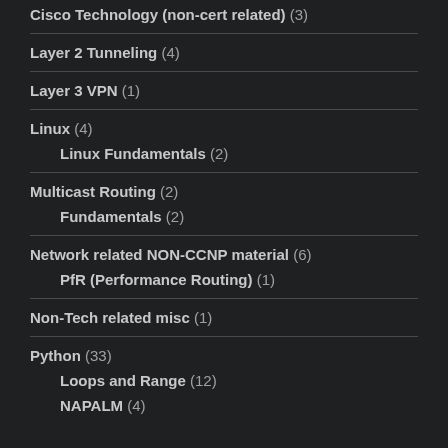Cisco Technology (non-cert related) (3)
Layer 2 Tunneling (4)
Layer 3 VPN (1)
Linux (4)
Linux Fundamentals (2)
Multicast Routing (2)
Fundamentals (2)
Network related NON-CCNP material (6)
PfR (Performance Routing) (1)
Non-Tech related misc (1)
Python (33)
Loops and Range (12)
NAPALM (4)